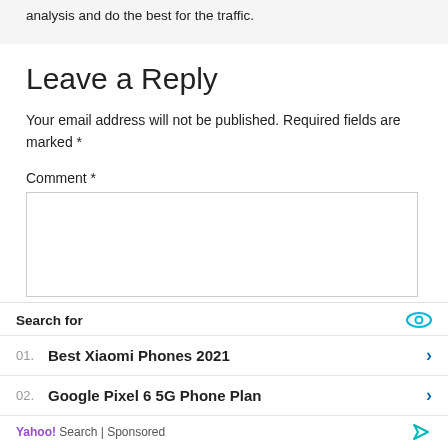analysis and do the best for the traffic.
Leave a Reply
Your email address will not be published. Required fields are marked *
Comment *
[Figure (screenshot): Advertisement section with 'Search for' header, eye icon, two sponsored search results: '01. Best Xiaomi Phones 2021' and '02. Google Pixel 6 5G Phone Plan', and a Yahoo! Search | Sponsored footer]